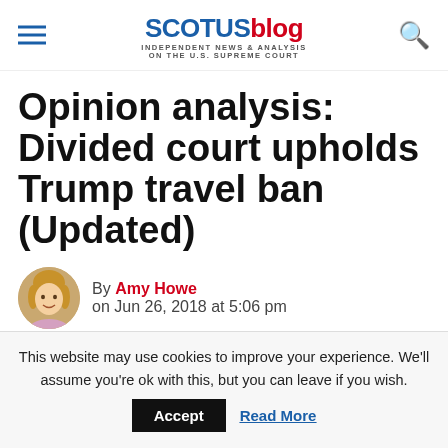SCOTUSblog — INDEPENDENT NEWS & ANALYSIS ON THE U.S. SUPREME COURT
Opinion analysis: Divided court upholds Trump travel ban (Updated)
By Amy Howe on Jun 26, 2018 at 5:06 pm
This website may use cookies to improve your experience. We'll assume you're ok with this, but you can leave if you wish. Accept Read More